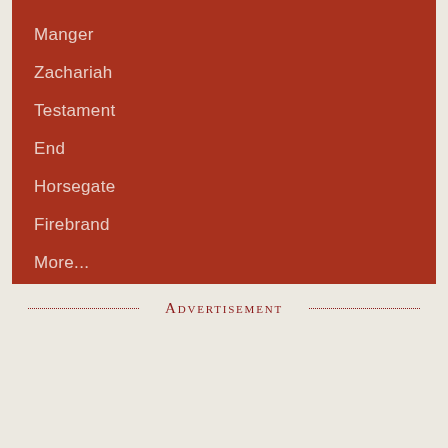Manger
Zachariah
Testament
End
Horsegate
Firebrand
More...
Advertisement